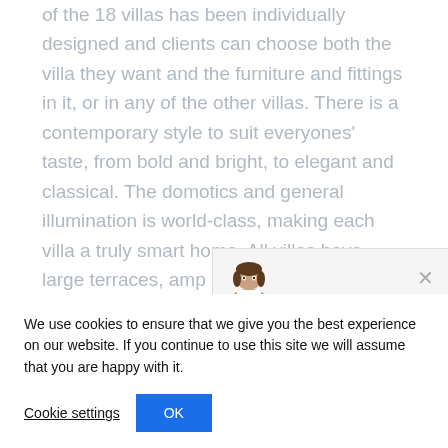of the 18 villas has been individually designed and clients can choose both the villa they want and the furniture and fittings in it, or in any of the other villas. There is a contemporary style to suit everyones' taste, from bold and bright, to elegant and classical. The domotics and general illumination is world-class, making each villa a truly smart home. All villas have large terraces, am[...] pool and banal[...]
[Figure (other): Chat widget overlay with a female avatar photo and a close (X) button]
We use cookies to ensure that we give you the best experience on our website. If you continue to use this site we will assume that you are happy with it.
Cookie settings   OK